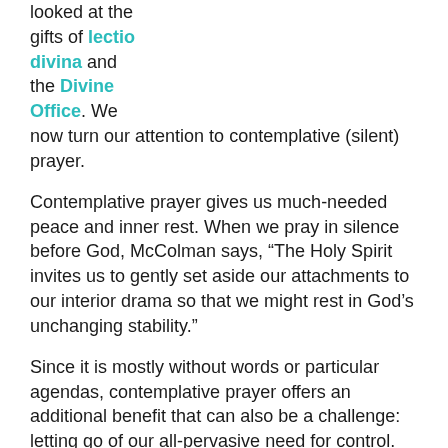looked at the gifts of lectio divina and the Divine Office. We now turn our attention to contemplative (silent) prayer.
Contemplative prayer gives us much-needed peace and inner rest. When we pray in silence before God, McColman says, “The Holy Spirit invites us to gently set aside our attachments to our interior drama so that we might rest in God’s unchanging stability.”
Since it is mostly without words or particular agendas, contemplative prayer offers an additional benefit that can also be a challenge: letting go of our all-pervasive need for control.